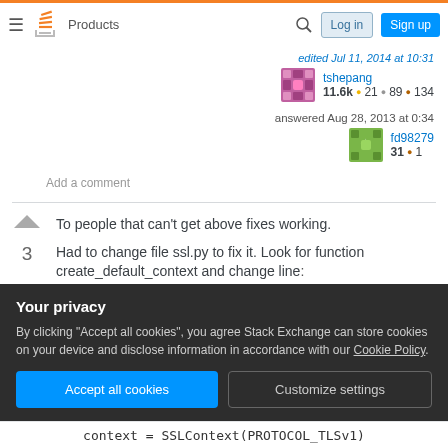Stack Overflow navigation bar with Products, Log in, Sign up
edited Jul 11, 2014 at 10:31
tshepang 11.6k ● 21 ● 89 ● 134
answered Aug 28, 2013 at 0:34
fd98279 31 ● 1
Add a comment
To people that can't get above fixes working.
3 Had to change file ssl.py to fix it. Look for function create_default_context and change line:
Your privacy
By clicking "Accept all cookies", you agree Stack Exchange can store cookies on your device and disclose information in accordance with our Cookie Policy.
Accept all cookies | Customize settings
context = SSLContext(PROTOCOL_TLSv1)